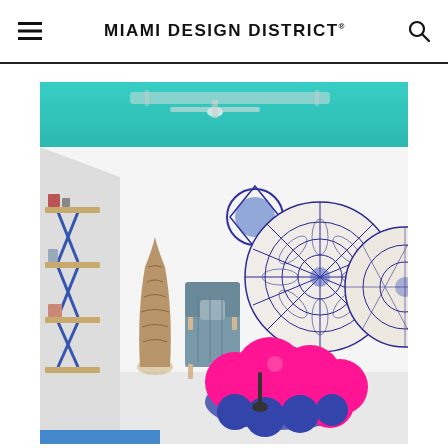MIAMI DESIGN DISTRICT
[Figure (photo): Interior gallery room with teal ceiling, white walls. Features a pink bubble/flower-shaped sofa in foreground, geometric mandala wall art (blue and white circular patterns), a dark woven lounge chair, tall woven vase/lamp, and a shelving unit with blue legs along the left wall.]